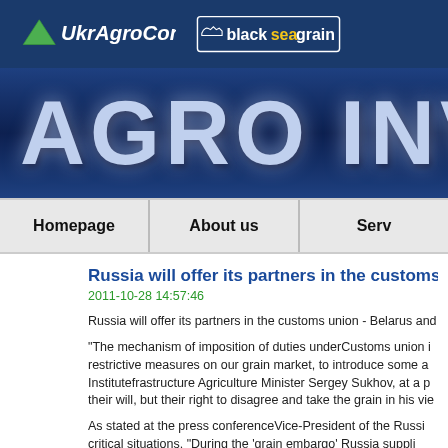UkrAgroConsult | blackseagrain
[Figure (logo): UkrAgroConsult logo with green triangle and blackseagrain logo on dark blue header bar]
AGRO INVE
Homepage | About us | Serv
Russia will offer its partners in the customs u
2011-10-28 14:57:46
Russia will offer its partners in the customs union - Belarus and
"The mechanism of imposition of duties underCustoms union i restrictive measures on our grain market, to introduce some a Institutefrastructure Agriculture Minister Sergey Sukhov, at a p their will, but their right to disagree and take the grain in his vie
As stated at the press conferenceVice-President of the Russi critical situations. "During the 'grain embargo' Russia suppli